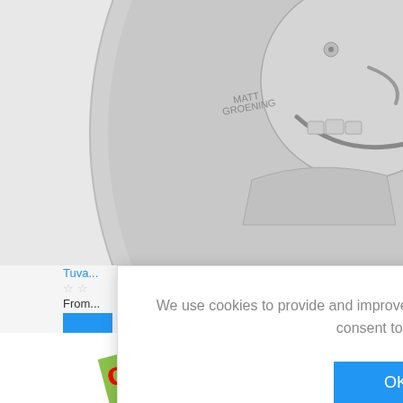[Figure (photo): Close-up of a silver coin showing a cartoon face (Homer Simpson style), with text 'MATT GROENING' and '©20TV' and 'P' mint mark engraved on the coin]
Tuva...
☆ ☆
From...
[Figure (screenshot): Cookie consent dialog box with text: 'We use cookies to provide and improve our services. By using our site, you consent to cookies', an OK button, and a 'Learn more' link]
[Figure (photo): Bottom portion of a product showing a green 'pre-order' label/sticker and part of a silver coin with a cartoon character]